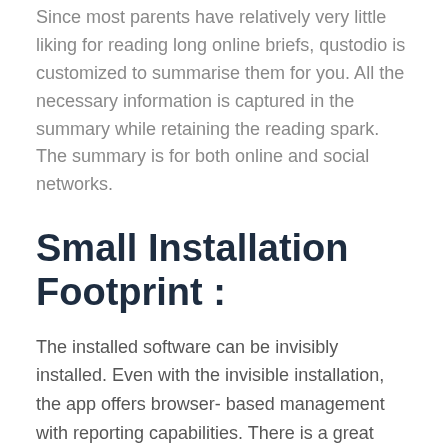Since most parents have relatively very little liking for reading long online briefs, qustodio is customized to summarise them for you. All the necessary information is captured in the summary while retaining the reading spark. The summary is for both online and social networks.
Small Installation Footprint :
The installed software can be invisibly installed. Even with the invisible installation, the app offers browser-based management with reporting capabilities. There is a great coordination of all the installed devices.
Block Unauthorized Sites: